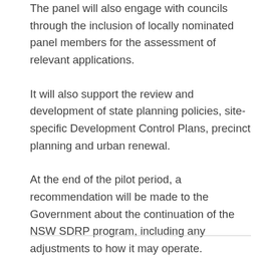The panel will also engage with councils through the inclusion of locally nominated panel members for the assessment of relevant applications.
It will also support the review and development of state planning policies, site-specific Development Control Plans, precinct planning and urban renewal.
At the end of the pilot period, a recommendation will be made to the Government about the continuation of the NSW SDRP program, including any adjustments to how it may operate.